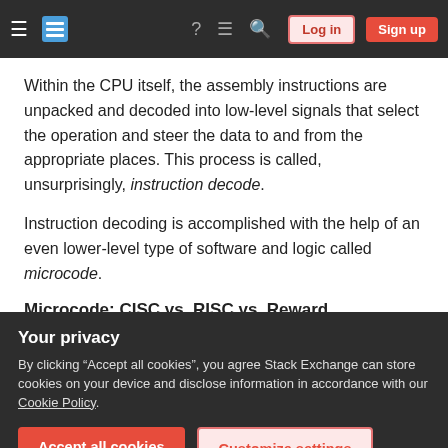Stack Exchange navigation bar with hamburger menu, logo, help, chat, search icons, Log in and Sign up buttons
Within the CPU itself, the assembly instructions are unpacked and decoded into low-level signals that select the operation and steer the data to and from the appropriate places. This process is called, unsurprisingly, instruction decode.
Instruction decoding is accomplished with the help of an even lower-level type of software and logic called microcode.
Microcode: CISC vs. RISC vs. Reward
Your privacy
By clicking “Accept all cookies”, you agree Stack Exchange can store cookies on your device and disclose information in accordance with our Cookie Policy.
Accept all cookies | Customize settings
single CISC instruction maps onto many micro-